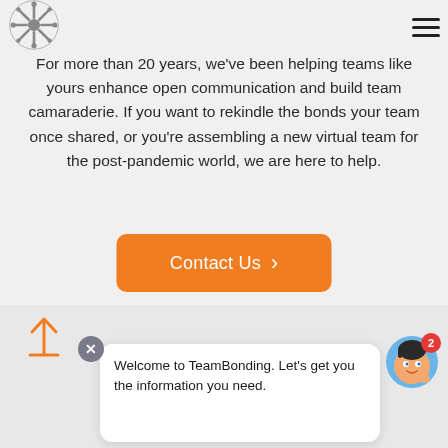TeamBonding logo and navigation menu
Let's talk!
For more than 20 years, we've been helping teams like yours enhance open communication and build team camaraderie. If you want to rekindle the bonds your team once shared, or you're assembling a new virtual team for the post-pandemic world, we are here to help.
[Figure (screenshot): Orange 'Contact Us' button with right-pointing chevron]
[Figure (screenshot): Chat popup widget with close button, up-arrow icon, welcome message and avatar with badge showing 2]
Welcome to TeamBonding. Let's get you the information you need.